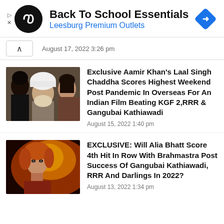[Figure (infographic): Advertisement banner: Back To School Essentials at Leesburg Premium Outlets, with circular black logo and blue diamond arrow icon]
August 17, 2022 3:26 pm
[Figure (photo): Thumbnail image showing three faces from Laal Singh Chaddha movie]
Exclusive Aamir Khan's Laal Singh Chaddha Scores Highest Weekend Post Pandemic In Overseas For An Indian Film Beating KGF 2,RRR & Gangubai Kathiawadi
August 15, 2022 1:40 pm
[Figure (photo): Thumbnail image of Alia Bhatt in Brahmastra with fiery orange background]
EXCLUSIVE: Will Alia Bhatt Score 4th Hit In Row With Brahmastra Post Success Of Gangubai Kathiawadi, RRR And Darlings In 2022?
August 13, 2022 1:34 pm